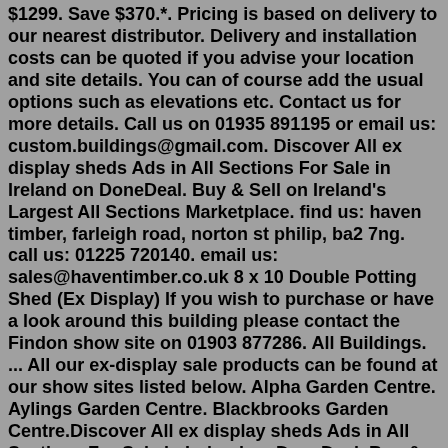$1299. Save $370.*. Pricing is based on delivery to our nearest distributor. Delivery and installation costs can be quoted if you advise your location and site details. You can of course add the usual options such as elevations etc. Contact us for more details. Call us on 01935 891195 or email us: custom.buildings@gmail.com. Discover All ex display sheds Ads in All Sections For Sale in Ireland on DoneDeal. Buy & Sell on Ireland's Largest All Sections Marketplace. find us: haven timber, farleigh road, norton st philip, ba2 7ng. call us: 01225 720140. email us: sales@haventimber.co.uk 8 x 10 Double Potting Shed (Ex Display) If you wish to purchase or have a look around this building please contact the Findon show site on 01903 877286. All Buildings. ... All our ex-display sale products can be found at our show sites listed below. Alpha Garden Centre. Aylings Garden Centre. Blackbrooks Garden Centre.Discover All ex display sheds Ads in All Sections For Sale in Ireland on DoneDeal. Buy & Sell on Ireland's Largest All Sections Marketplace. Crane Shed . The most